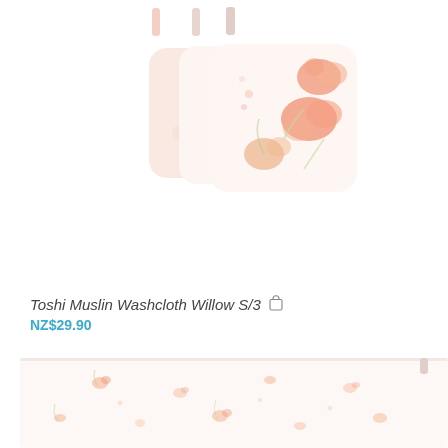[Figure (photo): Three muslin washcloths with floral print in peach and coral tones hanging by loops, fanned out to show the set of 3. White/cream background with botanical floral design.]
Toshi Muslin Washcloth Willow S/3
NZ$29.90
[Figure (photo): Bottom portion of a white/cream muslin fabric with subtle floral botanical print in peach and coral tones, partially cropped.]